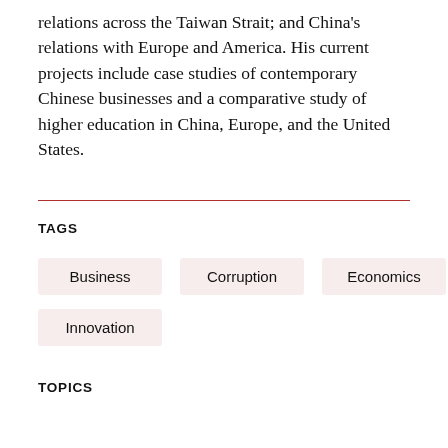relations across the Taiwan Strait; and China's relations with Europe and America. His current projects include case studies of contemporary Chinese businesses and a comparative study of higher education in China, Europe, and the United States.
TAGS
Business
Corruption
Economics
Innovation
TOPICS